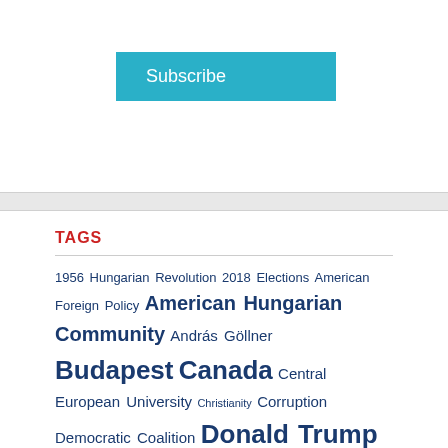Subscribe
TAGS
1956 Hungarian Revolution 2018 Elections American Foreign Policy American Hungarian Community András Göllner Budapest Canada Central European University Christianity Corruption Democratic Coalition Donald Trump Együtt Embassy of Hungary in Ottawa European Union Far-Right Fidesz Film Foreign Policy George Soros Gábor Vona Holocaust in Hungary Hungarian Canadian Community Hungarian Left Hungarian Media Hungarian Roma Islam